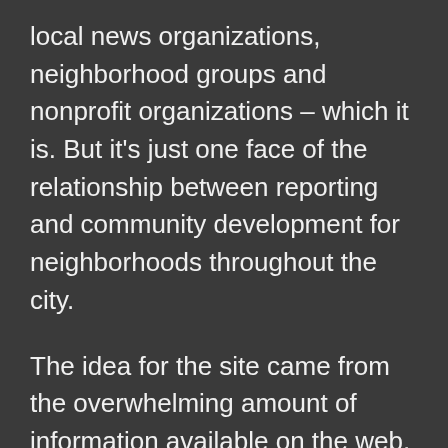local news organizations, neighborhood groups and nonprofit organizations – which it is. But it's just one face of the relationship between reporting and community development for neighborhoods throughout the city.
The idea for the site came from the overwhelming amount of information available on the web, said Patrick Barry, a contractor with Local Initiatives Support Corporation Chicago, or LISC/Chicago, the organization that sponsors the site. The organization brings together financial and technical resources to…